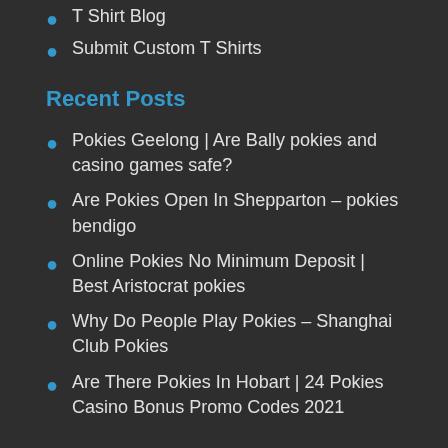T Shirt Blog
Submit Custom T Shirts
Recent Posts
Pokies Geelong | Are Bally pokies and casino games safe?
Are Pokies Open In Shepparton – pokies bendigo
Online Pokies No Minimum Deposit | Best Aristocrat pokies
Why Do People Play Pokies – Shanghai Club Pokies
Are There Pokies In Hobart | 24 Pokies Casino Bonus Promo Codes 2021
Online Store
[Figure (illustration): Black and white text/logo image at bottom of page]